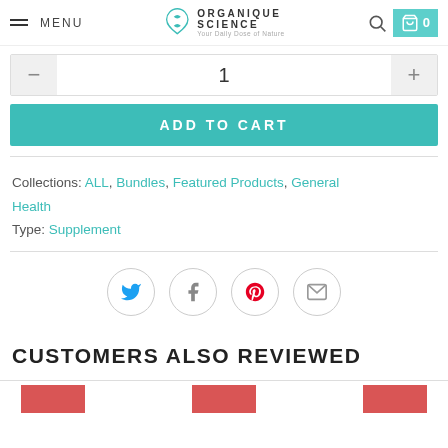MENU | ORGANIQUE SCIENCE Your Daily Dose of Nature | Search | Cart 0
1
ADD TO CART
Collections: ALL, Bundles, Featured Products, General Health
Type: Supplement
[Figure (infographic): Social sharing icons: Twitter (blue bird), Facebook (f), Pinterest (red P), Email (envelope) — each in a light-grey circle]
CUSTOMERS ALSO REVIEWED